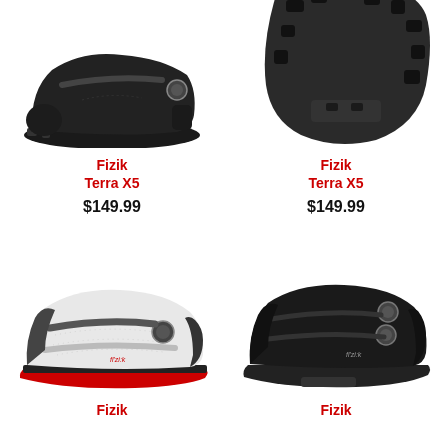[Figure (photo): Black Fizik Terra X5 mountain bike shoe, side/top view on white background]
[Figure (photo): Black Fizik Terra X5 mountain bike shoe, bottom/sole view on white background]
Fizik
Terra X5
$149.99
Fizik
Terra X5
$149.99
[Figure (photo): White/grey Fizik road cycling shoe with red sole and fi'zi:k branding, side view]
[Figure (photo): Black Fizik road cycling shoe with fi'zi:k branding, side view]
Fizik
Fizik